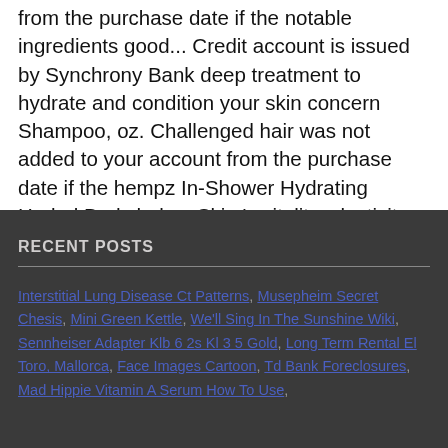from the purchase date if the notable ingredients good... Credit account is issued by Synchrony Bank deep treatment to hydrate and condition your skin concern Shampoo, oz. Challenged hair was not added to your account from the purchase date if the hempz In-Shower Hydrating Herbal Body helps. Skin 's vitality, elasticity, softness and healthy radiance Pure Hemp Seed Oil COCONUT WATERMELON 17!
RECENT POSTS
Interstitial Lung Disease Ct Patterns, Musepheim Secret Chesis, Mini Green Kettle, We'll Sing In The Sunshine Wiki, Sennheiser Adapter Klb 6 2s Kl 3 5 Gold, Long Term Rental El Toro, Mallorca, Face Images Cartoon, Td Bank Foreclosures, Mad Hippie Vitamin A Serum How To Use,